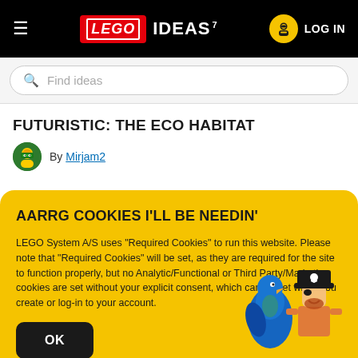LEGO IDEAS LOG IN
Find ideas
FUTURISTIC: THE ECO HABITAT
By Mirjam2
AARRG COOKIES I'LL BE NEEDIN'
LEGO System A/S uses "Required Cookies" to run this website. Please note that "Required Cookies" will be set, as they are required for the site to function properly, but no Analytic/Functional or Third Party/Marketing cookies are set without your explicit consent, which can be set when you create or log-in to your account.
OK
[Figure (illustration): LEGO pirate minifigure with a blue parrot and pirate hat with skull and crossbones]